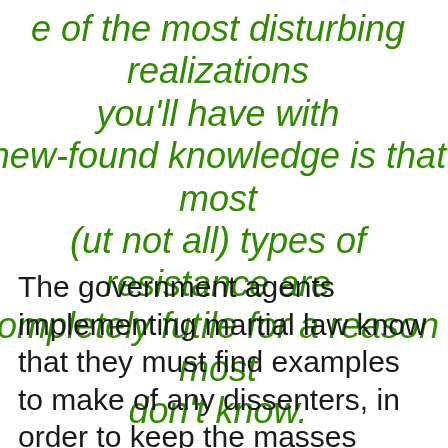e of the most disturbing realizations you'll have with new-found knowledge is that most (ut not all) types of resistance are ompletely futile for a reason most don't know.
The government agents implementing martial law know that they must find examples to make of any dissenters, in order to keep the masses cowed like sheep.